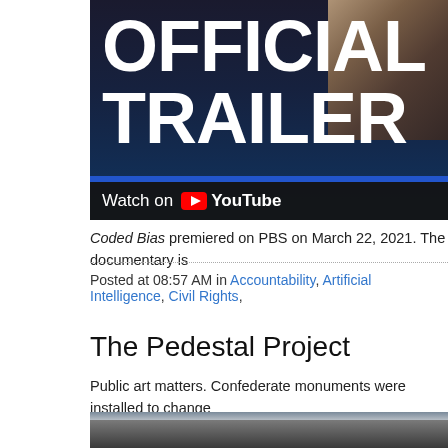[Figure (screenshot): YouTube video thumbnail showing 'OFFICIAL TRAILER' text in large white bold letters on dark blue background, with 'Watch on YouTube' bar at bottom]
Coded Bias premiered on PBS on March 22, 2021. The documentary is
Posted at 08:57 AM in Accountability, Artificial Intelligence, Civil Rights,
The Pedestal Project
Public art matters. Confederate monuments were installed to change the “Lost Cause.”
[Figure (photo): Outdoor photograph showing a rocky surface or monument against a sky with clouds]